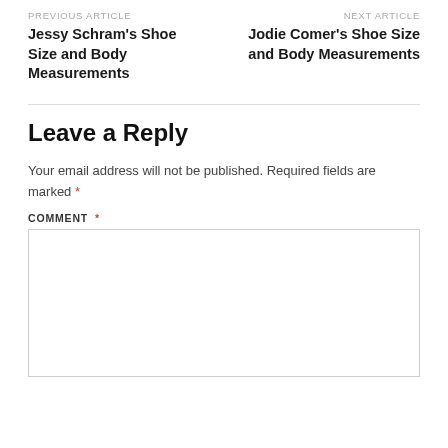PREVIOUS ARTICLE
Jessy Schram's Shoe Size and Body Measurements
NEXT ARTICLE
Jodie Comer's Shoe Size and Body Measurements
Leave a Reply
Your email address will not be published. Required fields are marked *
COMMENT *